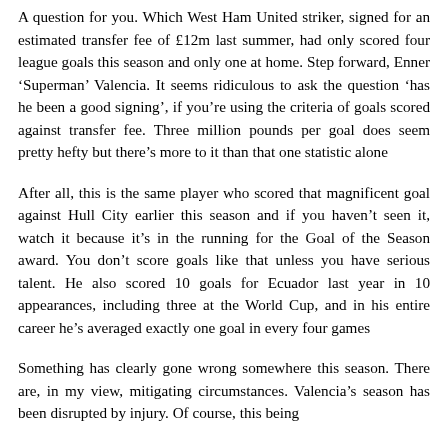A question for you. Which West Ham United striker, signed for an estimated transfer fee of £12m last summer, had only scored four league goals this season and only one at home. Step forward, Enner 'Superman' Valencia. It seems ridiculous to ask the question 'has he been a good signing', if you're using the criteria of goals scored against transfer fee. Three million pounds per goal does seem pretty hefty but there's more to it than that one statistic alone
After all, this is the same player who scored that magnificent goal against Hull City earlier this season and if you haven't seen it, watch it because it's in the running for the Goal of the Season award. You don't score goals like that unless you have serious talent. He also scored 10 goals for Ecuador last year in 10 appearances, including three at the World Cup, and in his entire career he's averaged exactly one goal in every four games
Something has clearly gone wrong somewhere this season. There are, in my view, mitigating circumstances. Valencia's season has been disrupted by injury. Of course, this being